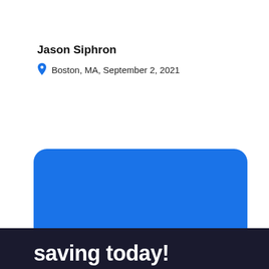Jason Siphron
Boston, MA, September 2, 2021
Through Caribou, you could start saving today!